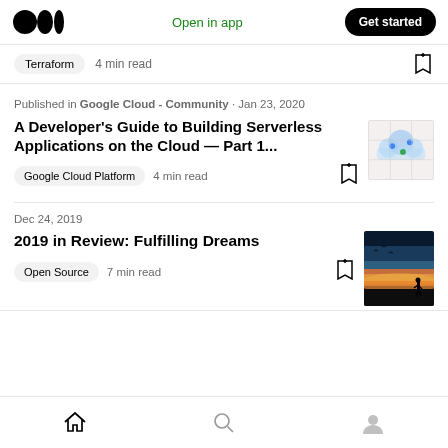Medium logo | Open in app | Get started
Terraform · 4 min read
Published in Google Cloud - Community · Jan 23, 2020
A Developer's Guide to Building Serverless Applications on the Cloud — Part 1...
Google Cloud Platform · 4 min read
Dec 24, 2019
2019 in Review: Fulfilling Dreams
Open Source · 7 min read
Home | Search | Profile